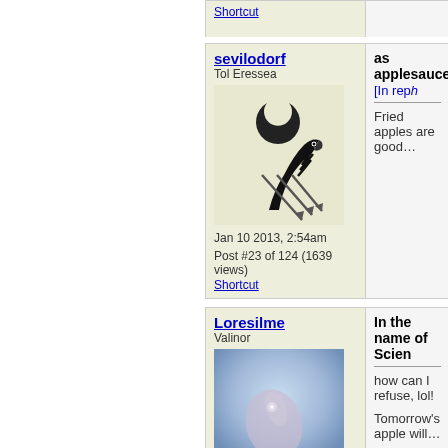Shortcut
sevilodorf
Tol Eressea
Jan 10 2013, 2:54am
Post #23 of 124 (1639 views)
Shortcut
as applesauce [In reply...
Fried apples are good...
Loresilme
Valinor
Jan 10 2013, 2:54am
Post #24 of 124 (1642 views)
In the name of Scien...
how can I refuse, lol!
Tomorrow's apple will...
back here with my find...